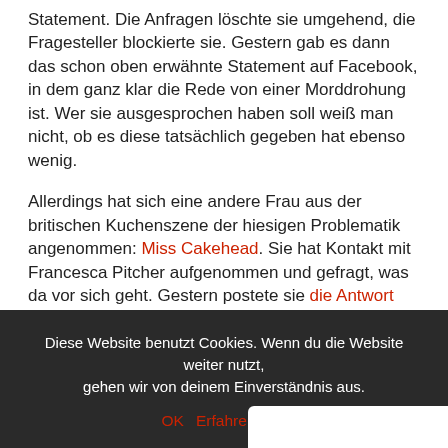Statement. Die Anfragen löschte sie umgehend, die Fragesteller blockierte sie. Gestern gab es dann das schon oben erwähnte Statement auf Facebook, in dem ganz klar die Rede von einer Morddrohung ist. Wer sie ausgesprochen haben soll weiß man nicht, ob es diese tatsächlich gegeben hat ebenso wenig.
Allerdings hat sich eine andere Frau aus der britischen Kuchenszene der hiesigen Problematik angenommen: Miss Cakehead. Sie hat Kontakt mit Francesca Pitcher aufgenommen und gefragt, was da vor sich geht. Gestern postete sie die Antwort von Pitcher auf ihr Facebook Profil:
Diese Website benutzt Cookies. Wenn du die Website weiter nutzt, gehen wir von deinem Einverständnis aus.
OK  Erfahre mehr